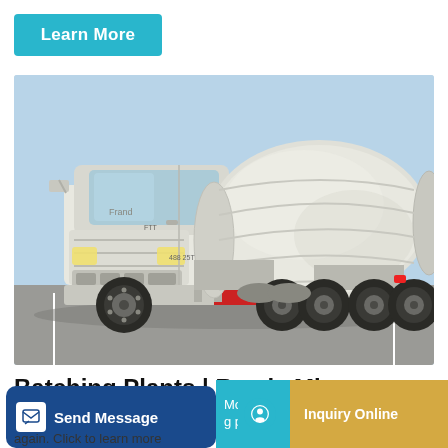Learn More
[Figure (photo): A white concrete mixer truck (ready mix truck) parked in a lot, viewed from the front-left, with large drum mixer on the back and red accent details on the chassis.]
Batching Plants | Ready Mix Batching Plants
Send Message
Monito g plan
Inquiry Online
again. Click to learn more